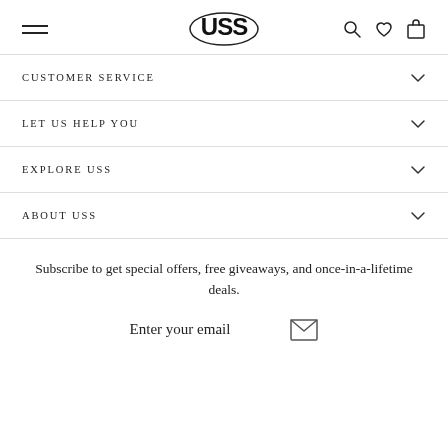USS (logo with hamburger menu, search, wishlist, cart icons)
CUSTOMER SERVICE
LET US HELP YOU
EXPLORE USS
ABOUT USS
Subscribe to get special offers, free giveaways, and once-in-a-lifetime deals.
Enter your email